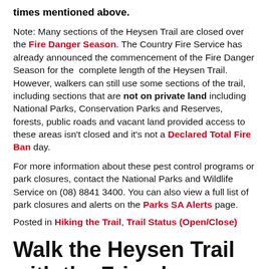times mentioned above.
Note: Many sections of the Heysen Trail are closed over the Fire Danger Season. The Country Fire Service has already announced the commencement of the Fire Danger Season for the complete length of the Heysen Trail. However, walkers can still use some sections of the trail, including sections that are not on private land including National Parks, Conservation Parks and Reserves, forests, public roads and vacant land provided access to these areas isn't closed and it's not a Declared Total Fire Ban day.
For more information about these pest control programs or park closures, contact the National Parks and Wildlife Service on (08) 8841 3400. You can also view a full list of park closures and alerts on the Parks SA Alerts page.
Posted in Hiking the Trail, Trail Status (Open/Close)
Walk the Heysen Trail with the Friends – From the Fleurieu Peninsula to Mt Lofty